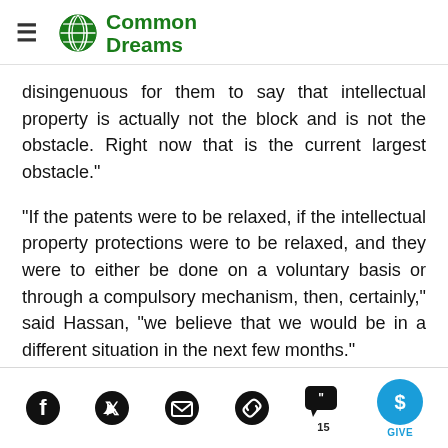Common Dreams
disingenuous for them to say that intellectual property is actually not the block and is not the obstacle. Right now that is the current largest obstacle."
"If the patents were to be relaxed, if the intellectual property protections were to be relaxed, and they were to either be done on a voluntary basis or through a compulsory mechanism, then, certainly," said Hassan, "we believe that we would be in a different situation in the next few months."
Social share icons: Facebook, Twitter, Email, Link, Comments (15), Give